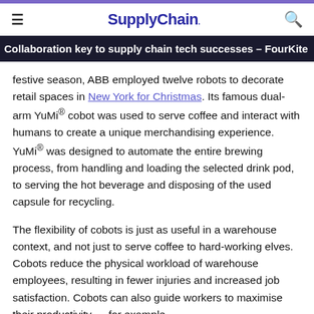SupplyChain.
Collaboration key to supply chain tech successes – FourKite
festive season, ABB employed twelve robots to decorate retail spaces in New York for Christmas. Its famous dual-arm YuMi® cobot was used to serve coffee and interact with humans to create a unique merchandising experience. YuMi® was designed to automate the entire brewing process, from handling and loading the selected drink pod, to serving the hot beverage and disposing of the used capsule for recycling.
The flexibility of cobots is just as useful in a warehouse context, and not just to serve coffee to hard-working elves. Cobots reduce the physical workload of warehouse employees, resulting in fewer injuries and increased job satisfaction. Cobots can also guide workers to maximise their productivity — for example,